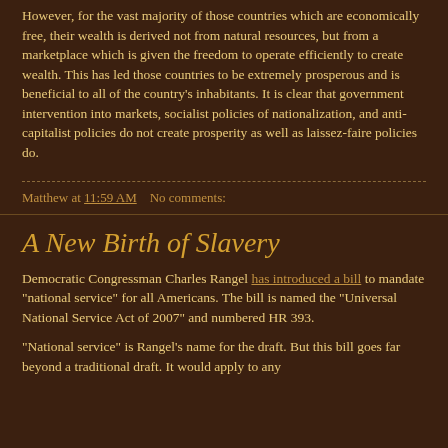However, for the vast majority of those countries which are economically free, their wealth is derived not from natural resources, but from a marketplace which is given the freedom to operate efficiently to create wealth. This has led those countries to be extremely prosperous and is beneficial to all of the country's inhabitants. It is clear that government intervention into markets, socialist policies of nationalization, and anti-capitalist policies do not create prosperity as well as laissez-faire policies do.
Matthew at 11:59 AM   No comments:
A New Birth of Slavery
Democratic Congressman Charles Rangel has introduced a bill to mandate "national service" for all Americans. The bill is named the "Universal National Service Act of 2007" and numbered HR 393.
"National service" is Rangel's name for the draft. But this bill goes far beyond a traditional draft. It would apply to any